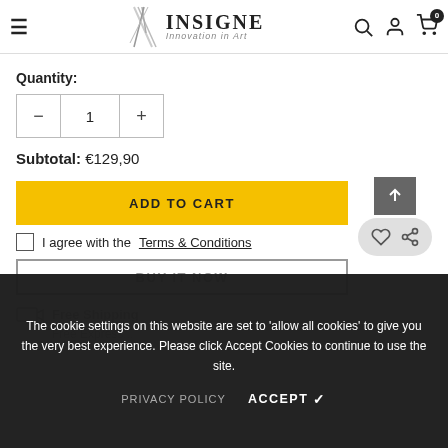INSIGNE Innovation in Art
Quantity:
- 1 +
Subtotal: €129,90
ADD TO CART
I agree with the Terms & Conditions
BUY IT NOW
Free Shipping
Free Express...
The cookie settings on this website are set to 'allow all cookies' to give you the very best experience. Please click Accept Cookies to continue to use the site.
PRIVACY POLICY   ACCEPT ✓